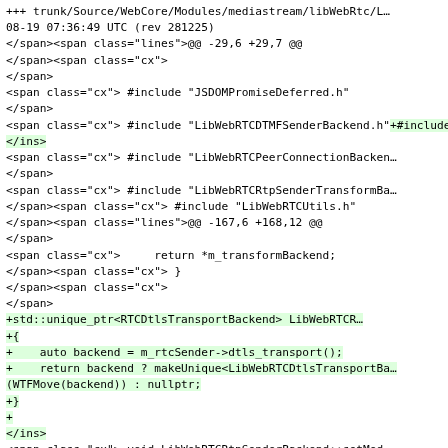Monospace code diff showing HTML/XML source with span, ins elements and code changes for LibWebRTC DTLS transport backend